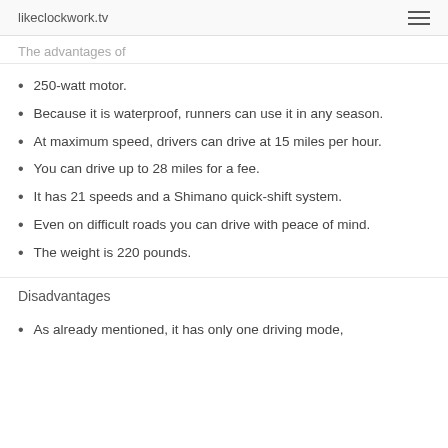likeclockwork.tv
The advantages of
250-watt motor.
Because it is waterproof, runners can use it in any season.
At maximum speed, drivers can drive at 15 miles per hour.
You can drive up to 28 miles for a fee.
It has 21 speeds and a Shimano quick-shift system.
Even on difficult roads you can drive with peace of mind.
The weight is 220 pounds.
Disadvantages
As already mentioned, it has only one driving mode,